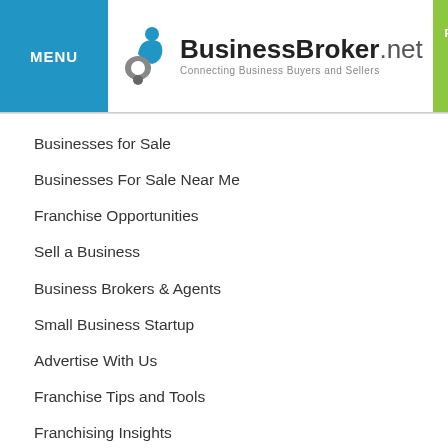MENU | BusinessBroker.net Connecting Business Buyers and Sellers | REQUEST INFO 0
Businesses for Sale
Businesses For Sale Near Me
Franchise Opportunities
Sell a Business
Business Brokers & Agents
Small Business Startup
Advertise With Us
Franchise Tips and Tools
Franchising Insights
Account Login
Site Map